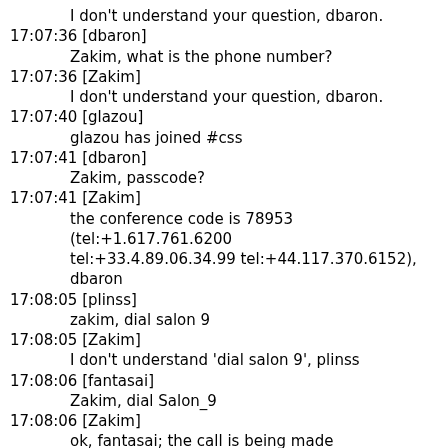I don't understand your question, dbaron.
17:07:36 [dbaron]
        Zakim, what is the phone number?
17:07:36 [Zakim]
        I don't understand your question, dbaron.
17:07:40 [glazou]
        glazou has joined #css
17:07:41 [dbaron]
        Zakim, passcode?
17:07:41 [Zakim]
        the conference code is 78953 (tel:+1.617.761.6200 tel:+33.4.89.06.34.99 tel:+44.117.370.6152), dbaron
17:08:05 [plinss]
        zakim, dial salon 9
17:08:05 [Zakim]
        I don't understand 'dial salon 9', plinss
17:08:06 [fantasai]
        Zakim, dial Salon_9
17:08:06 [Zakim]
        ok, fantasai; the call is being made
17:08:32 [dbaron]
        bz, conference code is above^
17:08:56 [dbaron]
        Zakim, who is on the phone?
17:08:56 [Zakim]
        Styl_CSS_FP(TRAC)12:00PM has not yet started